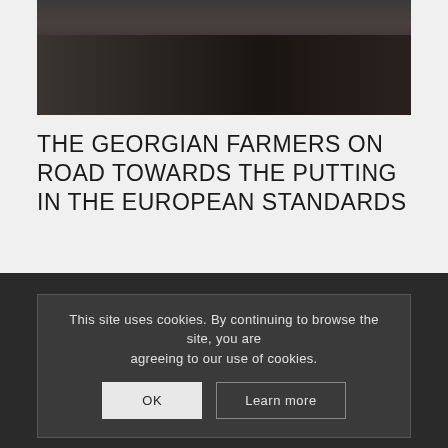[Figure (photo): Conference or meeting room scene with people seated, viewed from behind, dark/dim lighting]
THE GEORGIAN FARMERS ON ROAD TOWARDS THE PUTTING IN THE EUROPEAN STANDARDS
0 Comments / June 22, 2016
This site uses cookies. By continuing to browse the site, you are agreeing to our use of cookies.
OK
Learn more